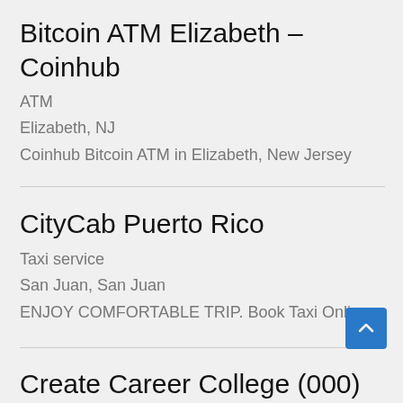Bitcoin ATM Elizabeth – Coinhub
ATM
Elizabeth, NJ
Coinhub Bitcoin ATM in Elizabeth, New Jersey
CityCab Puerto Rico
Taxi service
San Juan, San Juan
ENJOY COMFORTABLE TRIP. Book Taxi Online
create career college (000)